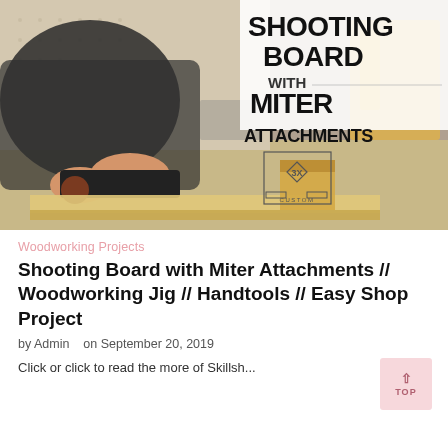[Figure (photo): Person using a hand plane on a shooting board with miter attachments in a woodworking shop. Overlay text reads 'SHOOTING BOARD WITH MITER ATTACHMENTS' with a '3X Custom' logo.]
Woodworking Projects
Shooting Board with Miter Attachments // Woodworking Jig // Handtools // Easy Shop Project
by Admin   on September 20, 2019
Click or click to read the more of Skillshare...